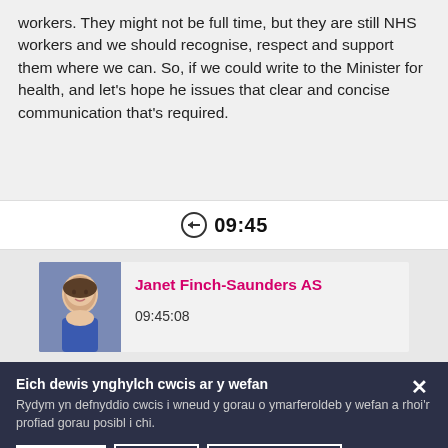workers. They might not be full time, but they are still NHS workers and we should recognise, respect and support them where we can. So, if we could write to the Minister for health, and let's hope he issues that clear and concise communication that's required.
09:45
Janet Finch-Saunders AS
09:45:08
Eich dewis ynghylch cwcis ar y wefan
Rydym yn defnyddio cwcis i wneud y gorau o ymarferoldeb y wefan a rhoi'r profiad gorau posibl i chi.
Derbyn
Gwrthod
Dewisiadau cwcis